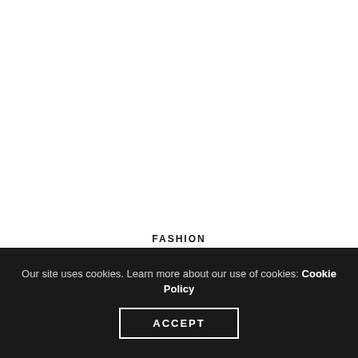[Figure (photo): White blank image area occupying the top portion of the page]
FASHION
LAST MINUTE OUTFIT IDEA FOR NYE!
Our site uses cookies. Learn more about our use of cookies: Cookie Policy
ACCEPT